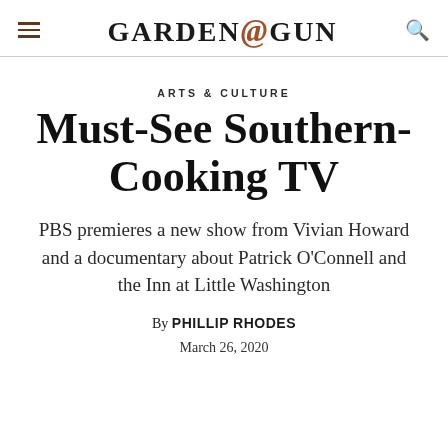GARDEN & GUN
ARTS & CULTURE
Must-See Southern-Cooking TV
PBS premieres a new show from Vivian Howard and a documentary about Patrick O'Connell and the Inn at Little Washington
By PHILLIP RHODES
March 26, 2020